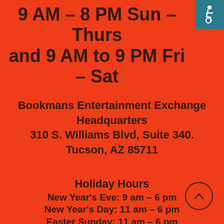9 AM – 8 PM Sun – Thurs and 9 AM to 9 PM Fri – Sat
[Figure (illustration): Wheelchair accessibility icon in teal square, top right corner]
Bookmans Entertainment Exchange Headquarters
310 S. Williams Blvd, Suite 340.
Tucson, AZ 85711
Holiday Hours
New Year's Eve: 9 am – 6 pm
New Year's Day: 11 am – 6 pm
Easter Sunday: 11 am – 6 pm
Memorial Day: 11 am – 6 pm
4th of July: 11 am – 6 pm
[Figure (illustration): Scroll-to-top arrow button, circle outline, bottom right]